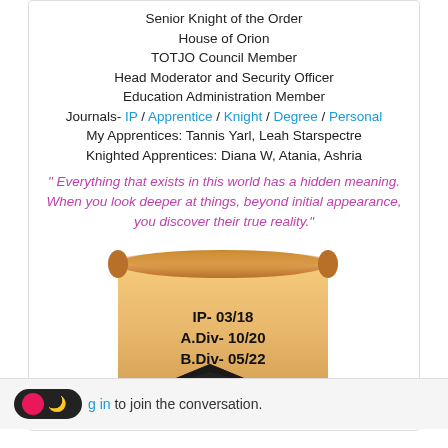Senior Knight of the Order
House of Orion
TOTJO Council Member
Head Moderator and Security Officer
Education Administration Member
Journals- IP / Apprentice / Knight / Degree / Personal
My Apprentices: Tannis Yarl, Leah Starspectre
Knighted Apprentices: Diana W, Atania, Ashria
" Everything that exists in this world has a hidden meaning. When you look deeper at things, beyond initial appearance, you discover their true reality."
[Figure (illustration): A scroll with text 'IP- 03/18 / A.Div- 10/20 / B.Div- 05/22' and a graduation cap with diploma beside it.]
Log in to join the conversation.